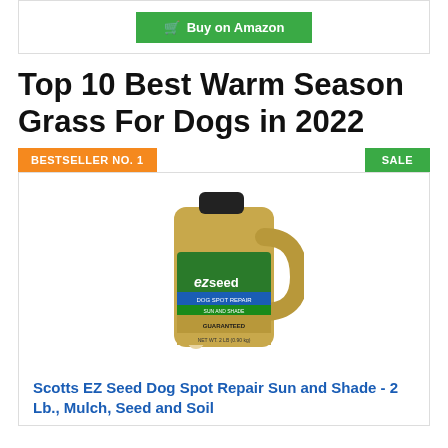[Figure (other): Buy on Amazon button with shopping cart icon on green background inside a bordered box]
Top 10 Best Warm Season Grass For Dogs in 2022
BESTSELLER NO. 1
SALE
[Figure (photo): Scotts EZ Seed Dog Spot Repair Sun and Shade 2 Lb product container - tan/gold jug with green label showing a golden retriever]
Scotts EZ Seed Dog Spot Repair Sun and Shade - 2 Lb., Mulch, Seed and Soil